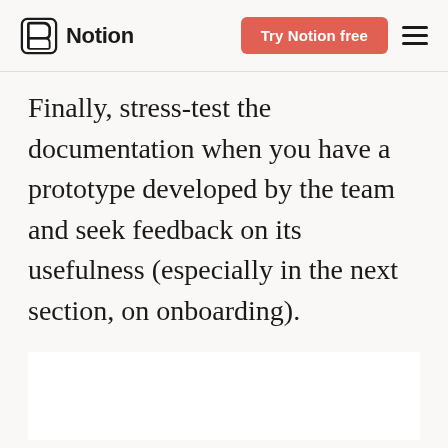Notion — Try Notion free
Finally, stress-test the documentation when you have a prototype developed by the team and seek feedback on its usefulness (especially in the next section, on onboarding).